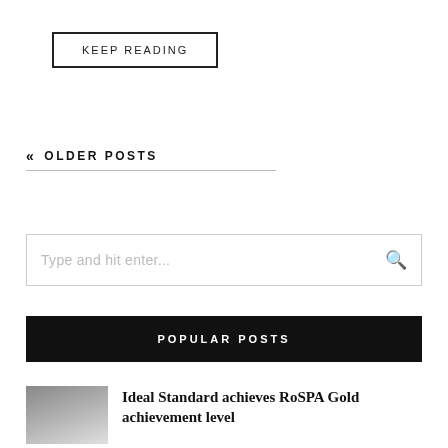KEEP READING
« OLDER POSTS
Type and hit enter...
POPULAR POSTS
Ideal Standard achieves RoSPA Gold achievement level